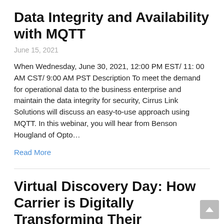Data Integrity and Availability with MQTT
June 15, 2021
When Wednesday, June 30, 2021, 12:00 PM EST/ 11: 00 AM CST/ 9:00 AM PST Description To meet the demand for operational data to the business enterprise and maintain the data integrity for security, Cirrus Link Solutions will discuss an easy-to-use approach using MQTT. In this webinar, you will hear from Benson Hougland of Opto…
Read More
Virtual Discovery Day: How Carrier is Digitally Transforming Their